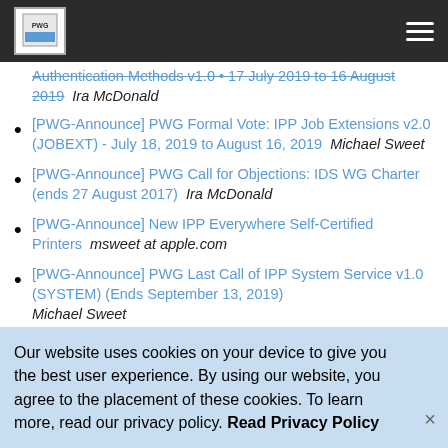PWG logo and navigation
[PWG-Announce] PWG Formal Vote: IPP Job Extensions v2.0 (JOBEXT) - July 18, 2019 to August 16, 2019   Michael Sweet
[PWG-Announce] PWG Call for Objections: IDS WG Charter (ends 27 August 2017)   Ira McDonald
[PWG-Announce] New IPP Everywhere Self-Certified Printers   msweet at apple.com
[PWG-Announce] PWG Last Call of IPP System Service v1.0 (SYSTEM) (Ends September 13, 2019)   Michael Sweet
[PWG-Announce] PWG Approved: IPP Job Extensions...
Our website uses cookies on your device to give you the best user experience. By using our website, you agree to the placement of these cookies. To learn more, read our privacy policy. Read Privacy Policy